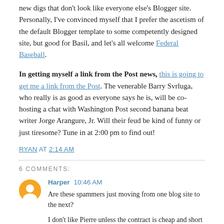new digs that don't look like everyone else's Blogger site. Personally, I've convinced myself that I prefer the ascetism of the default Blogger template to some competently designed site, but good for Basil, and let's all welcome Federal Baseball.
In getting myself a link from the Post news, this is going to get me a link from the Post. The venerable Barry Svrluga, who really is as good as everyone says he is, will be co-hosting a chat with Washington Post second banana beat writer Jorge Arangure, Jr. Will their feud be kind of funny or just tiresome? Tune in at 2:00 pm to find out!
RYAN AT 2:14 AM
6 COMMENTS:
Harper 10:46 AM
Are these spammers just moving from one blog site to the next?
I don't like Pierre unless the contract is cheap and short (2yrs tops). He's all speed-based and at 28 I feel like he'll be losing speed (not to mention what an injury could do).
I also prefer blogger sites. At least there you don't find ads all of a sudden on top of your entries. The Man!